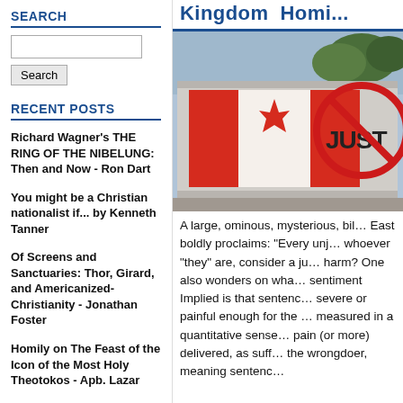SEARCH
[Search input field]
Search [button]
RECENT POSTS
Richard Wagner's THE RING OF THE NIBELUNG: Then and Now - Ron Dart
You might be a Christian nationalist if... by Kenneth Tanner
Of Screens and Sanctuaries: Thor, Girard, and Americanized-Christianity - Jonathan Foster
Homily on The Feast of the Icon of the Most Holy Theotokos - Apb. Lazar
Kingdom  Homi...
[Figure (photo): A billboard showing the Canadian flag with a red maple leaf and the word JUST visible, with a red circle/cross symbol over it. Sky and trees visible in background.]
A large, ominous, mysterious, bil... East boldly proclaims: "Every unj... whoever "they" are, consider a ju... harm?  One also wonders on wha... sentiment Implied is that sentenc... severe or painful enough for the ... measured in a quantitative sense... pain (or more)  delivered, as suff... the wrongdoer, meaning sentenc...